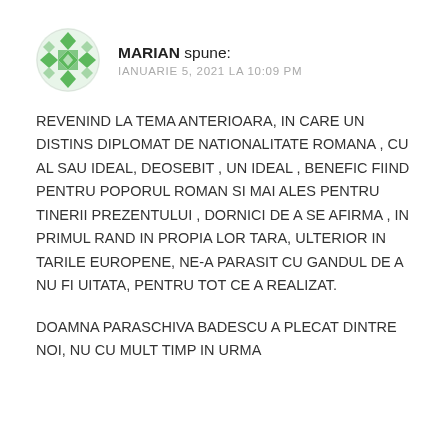MARIAN spune: IANUARIE 5, 2021 LA 10:09 PM
REVENIND LA TEMA ANTERIOARA, IN CARE UN DISTINS DIPLOMAT DE NATIONALITATE ROMANA , CU AL SAU IDEAL, DEOSEBIT , UN IDEAL , BENEFIC FIIND PENTRU POPORUL ROMAN SI MAI ALES PENTRU TINERII PREZENTULUI , DORNICI DE A SE AFIRMA , IN PRIMUL RAND IN PROPIA LOR TARA, ULTERIOR IN TARILE EUROPENE, NE-A PARASIT CU GANDUL DE A NU FI UITATA, PENTRU TOT CE A REALIZAT.
DOAMNA PARASCHIVA BADESCU A PLECAT DINTRE NOI, NU CU MULT TIMP IN URMA